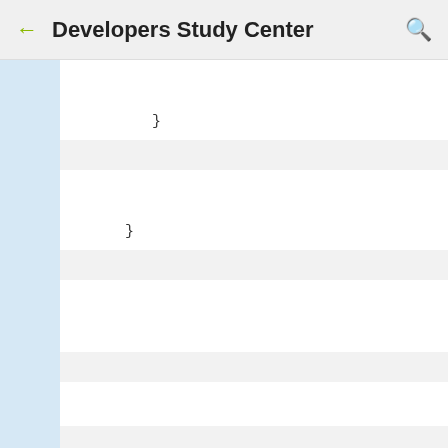Developers Study Center
}
}
public function update($id,$data){